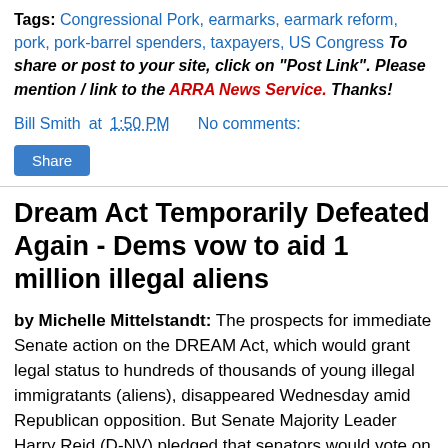Tags: Congressional Pork, earmarks, earmark reform, pork, pork-barrel spenders, taxpayers, US Congress  To share or post to your site, click on "Post Link". Please mention / link to the ARRA News Service. Thanks!
Bill Smith at 1:50 PM    No comments:
[Figure (other): Share button]
Dream Act Temporarily Defeated Again - Dems vow to aid 1 million illegal aliens
by Michelle Mittelstandt: The prospects for immediate Senate action on the DREAM Act, which would grant legal status to hundreds of thousands of young illegal immigratants (aliens), disappeared Wednesday amid Republican opposition. But Senate Majority Leader Harry Reid (D-NV) pledged that senators would vote on the the measure, which is strongly opposed by anti-illegal immigration groups, before the Senate finishes its work for the year in mid-November. "All who care about this matter